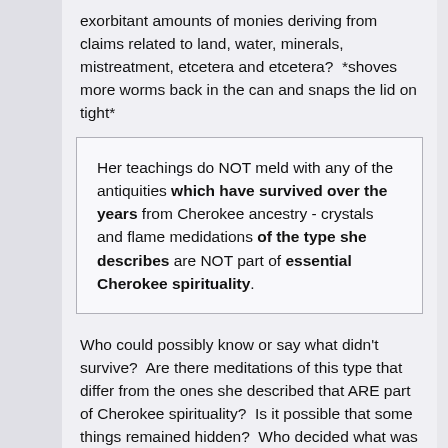exorbitant amounts of monies deriving from claims related to land, water, minerals, mistreatment, etcetera and etcetera?  *shoves more worms back in the can and snaps the lid on tight*
Her teachings do NOT meld with any of the antiquities which have survived over the years from Cherokee ancestry - crystals and flame medidations of the type she describes are NOT part of essential Cherokee spirituality.
Who could possibly know or say what didn't survive?  Are there meditations of this type that differ from the ones she described that ARE part of Cherokee spirituality?  Is it possible that some things remained hidden?  Who decided what was essential?